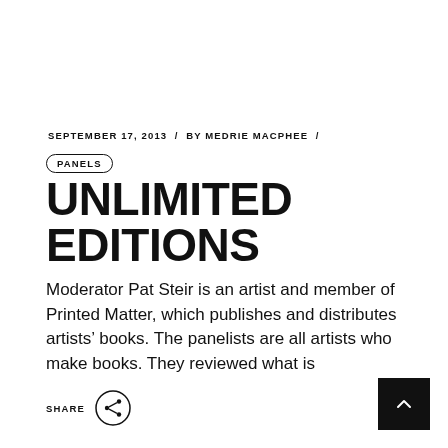SEPTEMBER 17, 2013 / BY MEDRIE MACPHEE /
PANELS
UNLIMITED EDITIONS
Moderator Pat Steir is an artist and member of Printed Matter, which publishes and distributes artists' books. The panelists are all artists who make books. They reviewed what is
SHARE